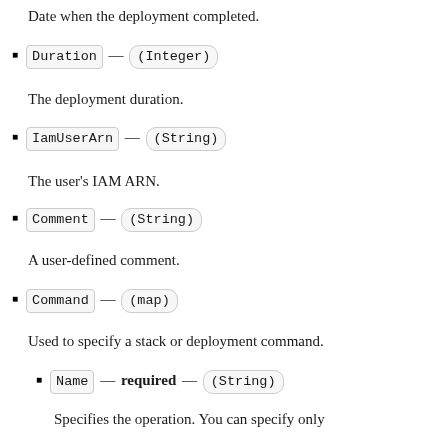Date when the deployment completed.
Duration — (Integer)
The deployment duration.
IamUserArn — (String)
The user's IAM ARN.
Comment — (String)
A user-defined comment.
Command — (map)
Used to specify a stack or deployment command.
Name — required — (String)
Specifies the operation. You can specify only